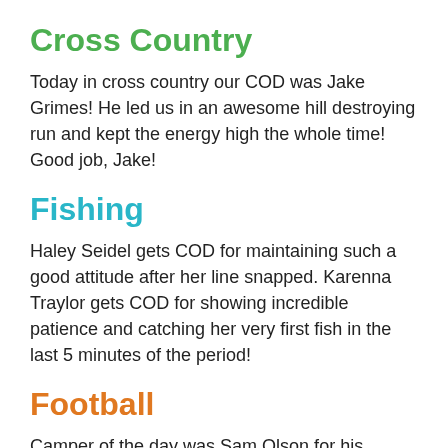Cross Country
Today in cross country our COD was Jake Grimes! He led us in an awesome hill destroying run and kept the energy high the whole time! Good job, Jake!
Fishing
Haley Seidel gets COD for maintaining such a good attitude after her line snapped. Karenna Traylor gets COD for showing incredible patience and catching her very first fish in the last 5 minutes of the period!
Football
Camper of the day was Sam Olson for his awesome team play on offense and defense!